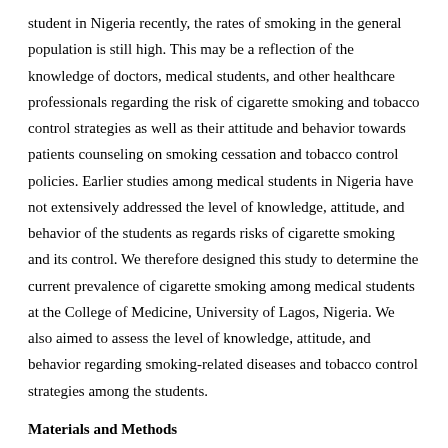student in Nigeria recently, the rates of smoking in the general population is still high. This may be a reflection of the knowledge of doctors, medical students, and other healthcare professionals regarding the risk of cigarette smoking and tobacco control strategies as well as their attitude and behavior towards patients counseling on smoking cessation and tobacco control policies. Earlier studies among medical students in Nigeria have not extensively addressed the level of knowledge, attitude, and behavior of the students as regards risks of cigarette smoking and its control. We therefore designed this study to determine the current prevalence of cigarette smoking among medical students at the College of Medicine, University of Lagos, Nigeria. We also aimed to assess the level of knowledge, attitude, and behavior regarding smoking-related diseases and tobacco control strategies among the students.
Materials and Methods
This was a descriptive cross-sectional study of medical students at the College of Medicine, University of Lagos, Nigeria. Prior to commencement of the study, ethical approval was obtained from the Health Research Ethics Committee (HREC) of the Lagos University Teaching Hospital. Only second year to sixth year (final year) medical students were included (first year student are in their